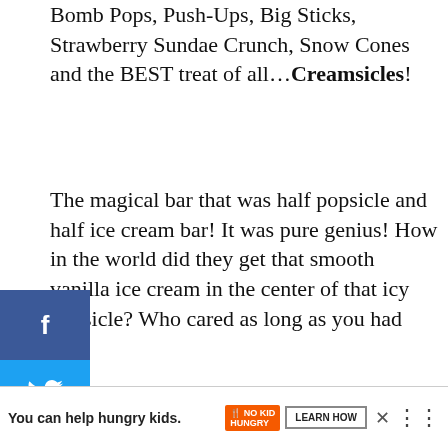Bomb Pops, Push-Ups, Big Sticks, Strawberry Sundae Crunch, Snow Cones and the BEST treat of all…Creamsicles!
The magical bar that was half popsicle and half ice cream bar! It was pure genius! How in the world did they get that smooth vanilla ice cream in the center of that icy popsicle? Who cared as long as you had one!
So to celebrate “The Good Ol’ Days” of summer past…I give you this amazing Orange Creamsicle Frozen Dessert. It combines a creamy crunchy
[Figure (other): Social sharing sidebar with Facebook, Twitter, and Pinterest buttons]
[Figure (other): Heart/like widget showing 14.8K and share icon]
[Figure (other): What's Next widget showing Cranberry Orange... article thumbnail]
[Figure (other): Advertisement banner: You can help hungry kids. No Kid Hungry. Learn How.]